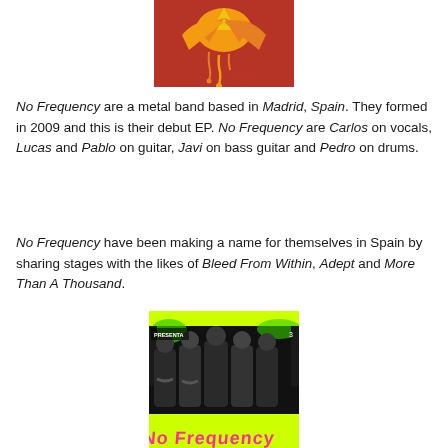[Figure (photo): Album cover with red/orange background and bird silhouette in yellow/orange]
No Frequency are a metal band based in Madrid, Spain. They formed in 2009 and this is their debut EP. No Frequency are Carlos on vocals, Lucas and Pablo on guitar, Javi on bass guitar and Pedro on drums.
No Frequency have been making a name for themselves in Spain by sharing stages with the likes of Bleed From Within, Adept and More Than A Thousand.
[Figure (photo): Band photo of No Frequency on bright yellow-green background, five members standing together, with pink graffiti text at the bottom]